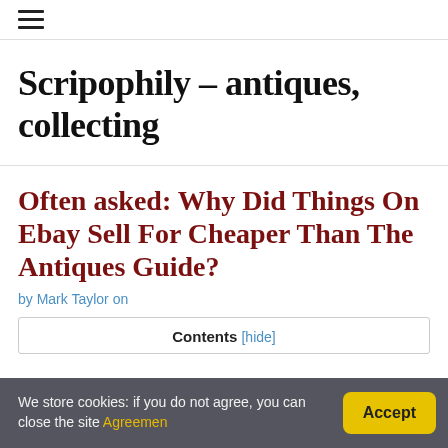≡
Scripophily – antiques, collecting
Often asked: Why Did Things On Ebay Sell For Cheaper Than The Antiques Guide?
by Mark Taylor on
Contents [hide]
We store cookies: if you do not agree, you can close the site Agreemen  Accept